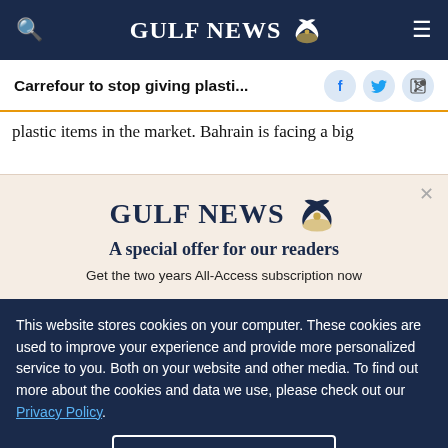GULF NEWS
Carrefour to stop giving plasti...
plastic items in the market. Bahrain is facing a big
[Figure (infographic): Gulf News modal advertisement: Gulf News logo with eagle, 'A special offer for our readers', 'Get the two years All-Access subscription now']
This website stores cookies on your computer. These cookies are used to improve your experience and provide more personalized service to you. Both on your website and other media. To find out more about the cookies and data we use, please check out our Privacy Policy.
OK